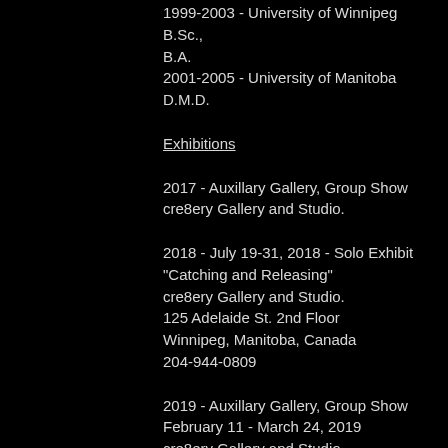1999-2003 - University of Winnipeg B.Sc., B.A.
2001-2005 - University of Manitoba D.M.D.
Exhibitions
2017 - Auxillary Gallery, Group Show
cre8ery Gallery and Studio.
2018 - July 19-31, 2018 - Solo Exhibit
"Catching and Releasing"
cre8ery Gallery and Studio.
125 Adelaide St. 2nd Floor
Winnipeg, Manitoba, Canada
204-944-0809
2019 - Auxillary Gallery, Group Show
February 11 - March 24, 2019
cre8ery Gallery and Studio
125 Adelaide St, 2nd Fl.